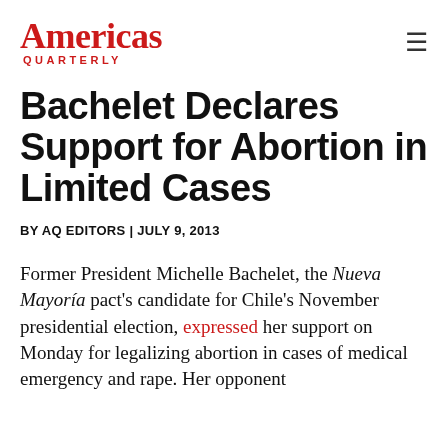Americas Quarterly
Bachelet Declares Support for Abortion in Limited Cases
BY AQ EDITORS | JULY 9, 2013
Former President Michelle Bachelet, the Nueva Mayoría pact's candidate for Chile's November presidential election, expressed her support on Monday for legalizing abortion in cases of medical emergency and rape. Her opponent